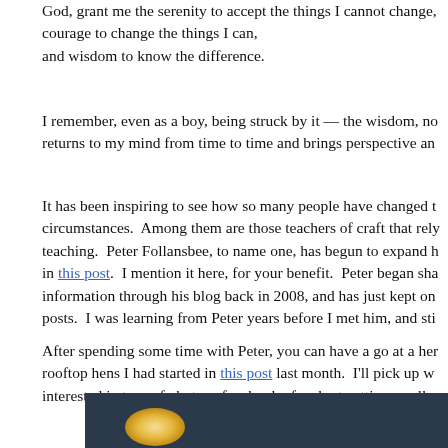God, grant me the serenity to accept the things I cannot change, courage to change the things I can, and wisdom to know the difference.
I remember, even as a boy, being struck by it — the wisdom, no... returns to my mind from time to time and brings perspective and...
It has been inspiring to see how so many people have changed their circumstances. Among them are those teachers of craft that rely on teaching. Peter Follansbee, to name one, has begun to expand his... in this post. I mention it here, for your benefit. Peter began sharing information through his blog back in 2008, and has just kept on... posts. I was learning from Peter years before I met him, and sti...
After spending some time with Peter, you can have a go at a her... rooftop hens I had started in this post last month. I'll pick up w... interested in tons of photos of a chunk of walnut getting smaller...
[Figure (photo): Partial view of a photo strip at the bottom of the page showing a dark teal/dark background with a glowing warm light element (possibly wood or a candle) visible.]